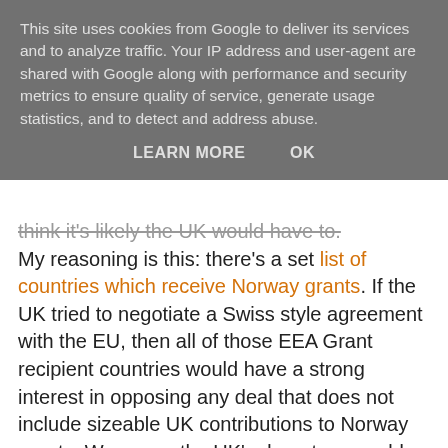This site uses cookies from Google to deliver its services and to analyze traffic. Your IP address and user-agent are shared with Google along with performance and security metrics to ensure quality of service, generate usage statistics, and to detect and address abuse.
LEARN MORE   OK
think it's likely the UK would have to. My reasoning is this: there's a set list of countries which receive Norway grants. If the UK tried to negotiate a Swiss style agreement with the EU, then all of those EEA Grant recipient countries would have a strong interest in opposing any deal that does not include sizeable UK contributions to Norway grants. Worse, as the UK's departure would reduce the EU's overall income, it would reduce the EU budget available for regional development, so unless the UK would